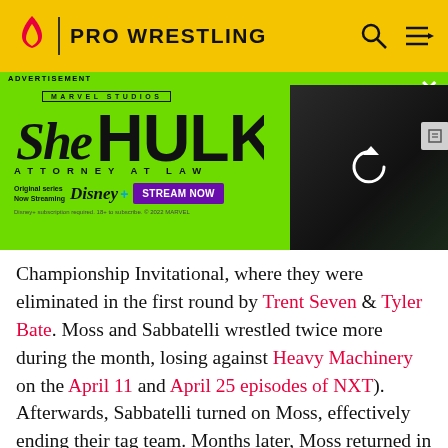PRO WRESTLING
[Figure (infographic): She-Hulk: Attorney at Law advertisement banner on green background with Marvel Studios branding, Disney+ streaming promotion, and photo of She-Hulk character]
Championship Invitational, where they were eliminated in the first round by Trent Seven & Tyler Bate. Moss and Sabbatelli wrestled twice more during the month, losing against Heavy Machinery on the April 11 and April 25 episodes of NXT). Afterwards, Sabbatelli turned on Moss, effectively ending their tag team. Months later, Moss returned in late 2018 for a match during the November 30 house show, where he was defeated by recent NXT recruit Matt Riddle. During the final month of the year,